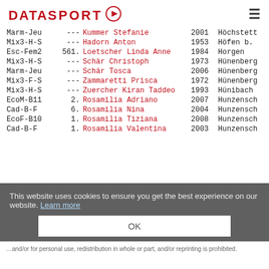DATASPORT
| Category | Rank | Name | Year | City |
| --- | --- | --- | --- | --- |
| Marm-Jeu | --- | Kummer Stefanie | 2001 | Höchstett |
| Mix3-H-S | --- | Hadorn Anton | 1953 | Höfen b. |
| Esc-Fem2 | 561. | Loetscher Linda Anne | 1984 | Horgen |
| Mix3-H-S | --- | Schär Christoph | 1973 | Hünenberg |
| Marm-Jeu | --- | Schär Tosca | 2006 | Hünenberg |
| Mix3-F-S | --- | Zammaretti Prisca | 1972 | Hünenberg |
| Mix3-H-S | --- | Zuercher Kiran Taddeo | 1993 | Hünibach |
| EcoM-B11 | 2. | Rosamilia Adriano | 2007 | Hunzensch |
| Cad-B-F | 6. | Rosamilia Nina | 2004 | Hunzensch |
| EcoF-B10 | 1. | Rosamilia Tiziana | 2008 | Hunzensch |
| Cad-B-F | 1. | Rosamilia Valentina | 2003 | Hunzensch |
This website uses cookies to ensure you get the best experience on our website. Learn more
OK
... and/or for personal use, redistribution in whole or part, and/or reprinting is prohibited.